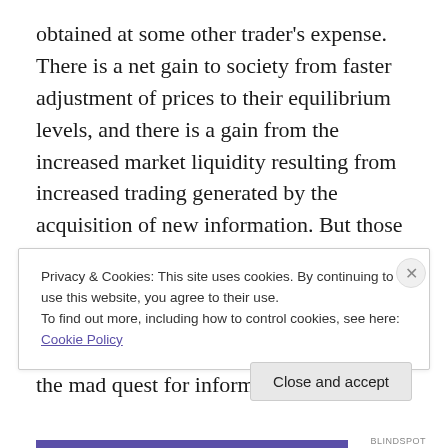obtained at some other trader's expense. There is a net gain to society from faster adjustment of prices to their equilibrium levels, and there is a gain from the increased market liquidity resulting from increased trading generated by the acquisition of new information. But those gains are second-order compared to gains that merely reflect someone else's losses. That's why there is clearly overinvestment — perhaps massive overinvestment — in the mad quest for information.
Privacy & Cookies: This site uses cookies. By continuing to use this website, you agree to their use.
To find out more, including how to control cookies, see here: Cookie Policy
Close and accept